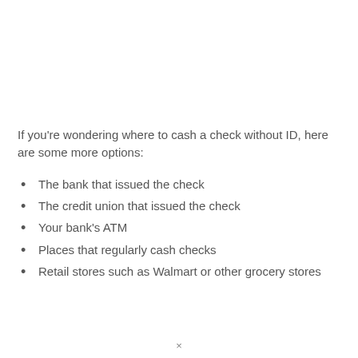If you're wondering where to cash a check without ID, here are some more options:
The bank that issued the check
The credit union that issued the check
Your bank's ATM
Places that regularly cash checks
Retail stores such as Walmart or other grocery stores
×